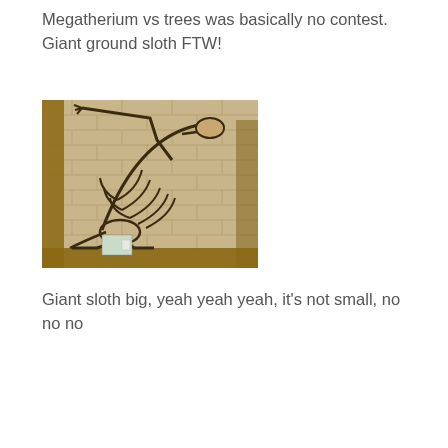Megatherium vs trees was basically no contest. Giant ground sloth FTW!
[Figure (photo): Museum display of a Megatherium (giant ground sloth) skeleton on exhibit, posed rearing up against a wooden post, in front of a brick wall background. A small informational sign is visible on the platform below.]
Giant sloth big, yeah yeah yeah, it's not small, no no no